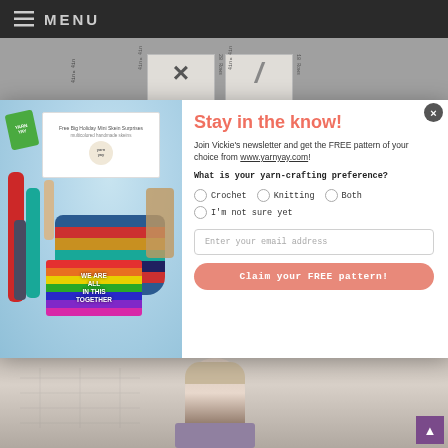MENU
[Figure (screenshot): Knitting gauge swatch reference cards showing U.S. 6, 28 Rows and U.S. G/6, 18 Rows]
[Figure (photo): Newsletter signup popup showing yarn crafting supplies, rainbow card saying WE ARE ALL IN THIS TOGETHER, and multicolored socks]
Stay in the know!
Join Vickie's newsletter and get the FREE pattern of your choice from www.yarnyay.com!
What is your yarn-crafting preference?
Crochet
Knitting
Both
I'm not sure yet
Enter your email address
Claim your FREE pattern!
[Figure (photo): Background image of person with short blonde hair wearing purple/mauve top, with knitting pattern schematic visible]